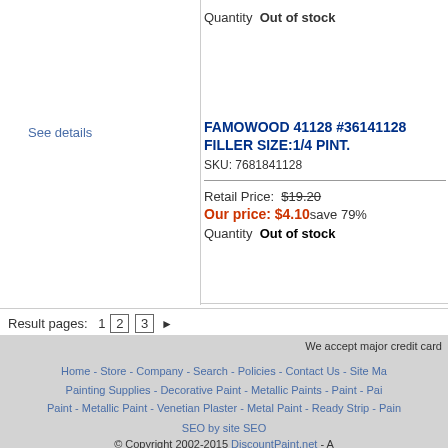Quantity  Out of stock
See details
FAMOWOOD 41128 #36141128 FILLER SIZE:1/4 PINT.
SKU: 7681841128
Retail Price: $19.20
Our price: $4.10 save 79%
Quantity  Out of stock
Result pages:  1  2  3  ▶
We accept major credit card... Home - Store - Company - Search - Policies - Contact Us - Site Ma... Painting Supplies - Decorative Paint - Metallic Paints - Paint - Pai... Paint - Metallic Paint - Venetian Plaster - Metal Paint - Ready Strip - Pain... SEO by site SEO   © Copyright 2002-2015 DiscountPaint.net - A